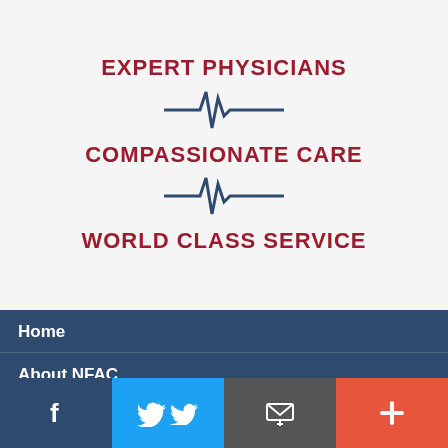EXPERT PHYSICIANS
[Figure (illustration): Heartbeat/ECG line icon in dark navy blue]
COMPASSIONATE CARE
[Figure (illustration): Heartbeat/ECG line icon in dark navy blue]
WORLD CLASS SERVICE
Home
About NFAC
Meet Our Experts
[Figure (infographic): Social media bar with Facebook, Twitter, email, and plus icons]